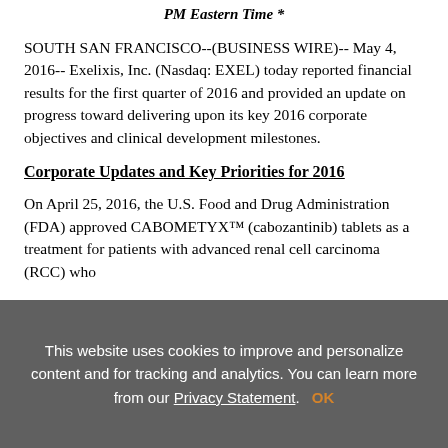PM Eastern Time *
SOUTH SAN FRANCISCO--(BUSINESS WIRE)-- May 4, 2016-- Exelixis, Inc. (Nasdaq: EXEL) today reported financial results for the first quarter of 2016 and provided an update on progress toward delivering upon its key 2016 corporate objectives and clinical development milestones.
Corporate Updates and Key Priorities for 2016
On April 25, 2016, the U.S. Food and Drug Administration (FDA) approved CABOMETYX™ (cabozantinib) tablets as a treatment for patients with advanced renal cell carcinoma (RCC) who
This website uses cookies to improve and personalize content and for tracking and analytics. You can learn more from our Privacy Statement. OK